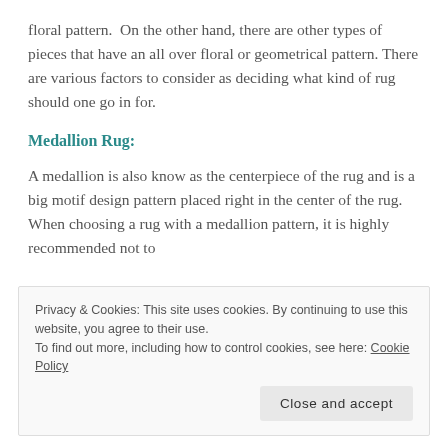floral pattern. On the other hand, there are other types of pieces that have an all over floral or geometrical pattern. There are various factors to consider as deciding what kind of rug should one go in for.
Medallion Rug:
A medallion is also know as the centerpiece of the rug and is a big motif design pattern placed right in the center of the rug. When choosing a rug with a medallion pattern, it is highly recommended not to
Privacy & Cookies: This site uses cookies. By continuing to use this website, you agree to their use.
To find out more, including how to control cookies, see here: Cookie Policy
Close and accept